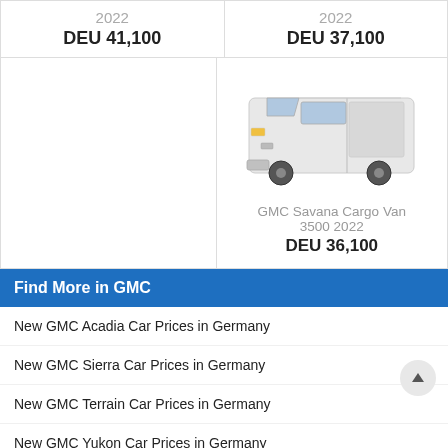2022
DEU 41,100
2022
DEU 37,100
[Figure (photo): White GMC Savana Cargo Van 3500 2022]
GMC Savana Cargo Van 3500 2022
DEU 36,100
Find More in GMC
New GMC Acadia Car Prices in Germany
New GMC Sierra Car Prices in Germany
New GMC Terrain Car Prices in Germany
New GMC Yukon Car Prices in Germany
New GMC … Car Prices in Germany